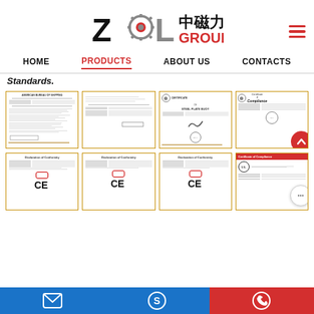[Figure (logo): ZCL 中磁力 GROUP logo with gear icon]
HOME | PRODUCTS | ABOUT US | CONTACTS
Standards.
[Figure (photo): Grid of 8 certificate thumbnails showing Declaration of Conformity and Certificate of Compliance documents]
Email | Skype | Phone contact icons